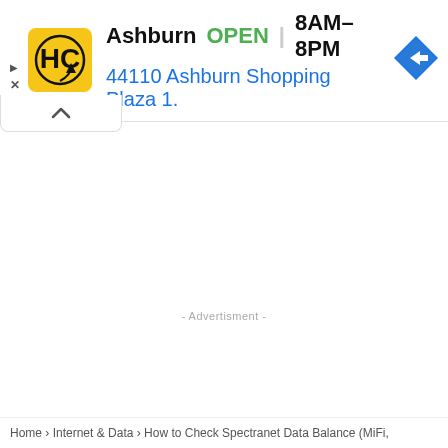[Figure (screenshot): Ad banner for HC (Haverty's/Home Consignment) store in Ashburn showing logo, OPEN status, hours 8AM-8PM, address 44110 Ashburn Shopping Plaza 1., and a blue navigation arrow icon]
- Advertisment -
Home › Internet & Data › How to Check Spectranet Data Balance (MiFi,